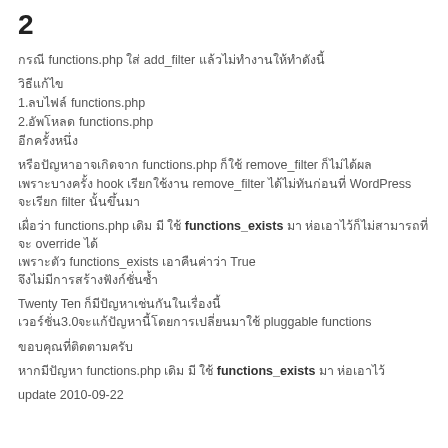2
กรณี functions.php ใส่ add_filter แล้วไม่ทำงานให้ทำดังนี้
วิธีแก้ไข
1.ลบไฟล์ functions.php
2.อัพโหลด functions.php
อีกครั้งหนึ่ง
หรือปัญหาอาจเกิดจาก functions.php ก็ใช้ remove_filter ก็ไม่ได้ผล
เพราะบางครั้ง hook เรียกใช้งาน remove_filter ได้ไม่ทันก่อนที่ WordPress
จะเรียก filter นั้นขึ้นมา
เผื่อว่า functions.php เดิม มี ใช้ functions_exists มา ห่อเอาไว้ก็ไม่สามารถที่จะ override ได้
เพราะตัว functions_exists เอาคืนค่าว่า True
จึงไม่มีการสร้างฟังก์ชั่นซ้ำ
Twenty Ten ก็มีปัญหาเช่นกันในเรื่องนี้
เวอร์ชั่น3.0จะแก้ปัญหานี้โดยการเปลี่ยนมาใช้ pluggable functions
ขอบคุณที่ติดตามครับ
หากมีปัญหา functions.php เดิม มี ใช้ functions_exists มา ห่อเอาไว้
update 2010-09-22